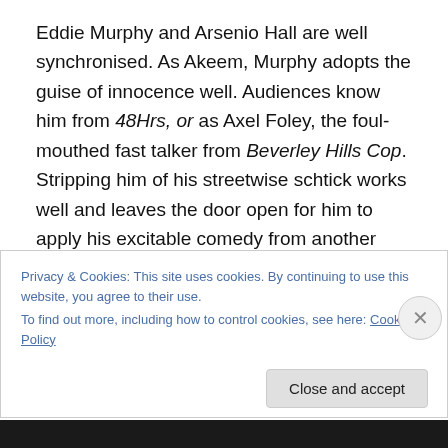Eddie Murphy and Arsenio Hall are well synchronised. As Akeem, Murphy adopts the guise of innocence well. Audiences know him from 48Hrs, or as Axel Foley, the foul-mouthed fast talker from Beverley Hills Cop. Stripping him of his streetwise schtick works well and leaves the door open for him to apply his excitable comedy from another angle.
As Akeem's father and King of Zamunda, James Earl Jones is comedically commanding, projecting his distinctive Vader-esque authority while literally wearing a
Privacy & Cookies: This site uses cookies. By continuing to use this website, you agree to their use.
To find out more, including how to control cookies, see here: Cookie Policy